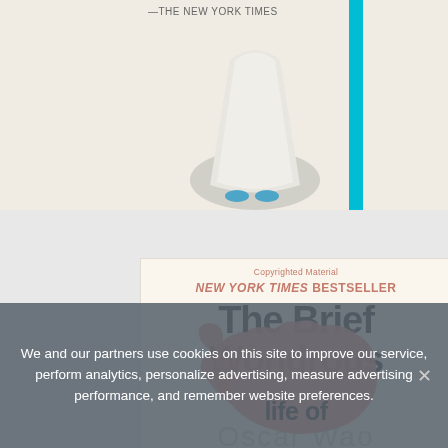[Figure (photo): Top portion of a book cover showing a partial figure in a white dress, with a cyan vertical bar on the right edge. A quote attribution reads '—THE NEW YORK TIMES' at the top.]
[Figure (photo): Bottom book cover for 'The Brief Wondrous Life of Oscar Wao' — cream/off-white background with bold black title text, coral/salmon colored afro silhouette graphic in the center, 'NEW YORK TIMES BESTSELLER' in coral italic at top, 'Copyrighted Material' text, and 'Oscar Wao' in pale gray large letters at the bottom.]
We and our partners use cookies on this site to improve our service, perform analytics, personalize advertising, measure advertising performance, and remember website preferences.